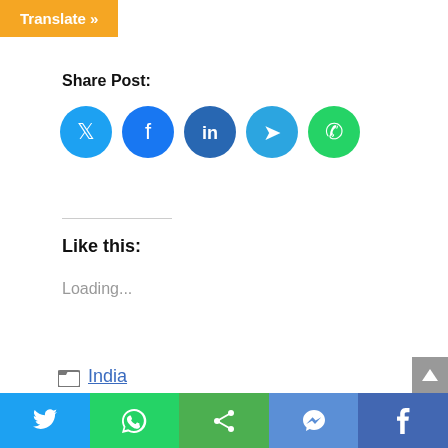Translate »
Share Post:
[Figure (infographic): Five social media share buttons as colored circles: Twitter (light blue), Facebook (blue), LinkedIn (dark blue), Telegram (cyan), WhatsApp (green) with white icons]
Like this:
Loading...
India
assembly, August, Bhajan Aarti, breaking news, business news india, cricket news, english, Entertainment news, headlines, News, news in india, politics news, Politics News Hindi, school, Spiritual, sports news update, tech news, Tentaran
[Figure (infographic): Bottom navigation bar with five colored sections: Twitter (light blue), WhatsApp (green), Share (green), Messenger (blue), Facebook (dark blue) each with white icons]